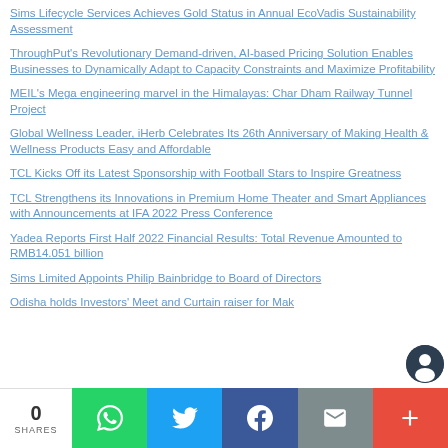Sims Lifecycle Services Achieves Gold Status in Annual EcoVadis Sustainability Assessment
ThroughPut's Revolutionary Demand-driven, AI-based Pricing Solution Enables Businesses to Dynamically Adapt to Capacity Constraints and Maximize Profitability
MEIL's Mega engineering marvel in the Himalayas: Char Dham Railway Tunnel Project
Global Wellness Leader, iHerb Celebrates Its 26th Anniversary of Making Health & Wellness Products Easy and Affordable
TCL Kicks Off its Latest Sponsorship with Football Stars to Inspire Greatness
TCL Strengthens its Innovations in Premium Home Theater and Smart Appliances with Announcements at IFA 2022 Press Conference
Yadea Reports First Half 2022 Financial Results: Total Revenue Amounted to RMB14.051 billion
Sims Limited Appoints Philip Bainbridge to Board of Directors
Odisha holds Investors' Meet and Curtain raiser for Mak…